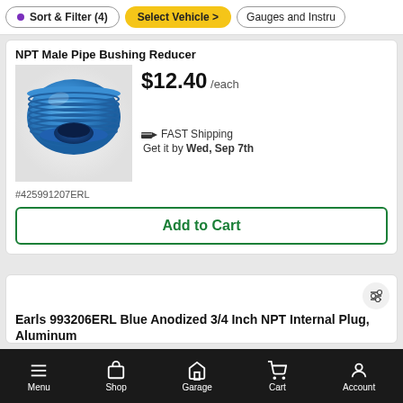Sort & Filter (4) | Select Vehicle > | Gauges and Instru
NPT Male Pipe Bushing Reducer
[Figure (photo): Blue anodized aluminum NPT male pipe bushing reducer fitting]
$12.40 /each
🚚 FAST Shipping
Get it by Wed, Sep 7th
#425991207ERL
Add to Cart
Earls 993206ERL Blue Anodized 3/4 Inch NPT Internal Plug, Aluminum
Menu | Shop | Garage | Cart | Account